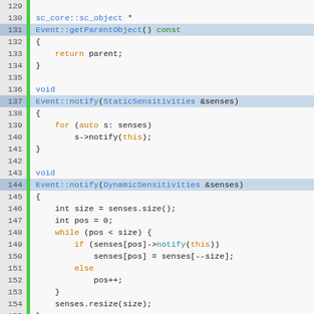[Figure (screenshot): C++ source code listing showing lines 129-161, including sc_core::sc_object* Event::getParentObject() const, Event::notify(StaticSensitivities &senses), Event::notify(DynamicSensitivities &senses), and Event::notify() functions with syntax highlighting in blue, orange, green, and default colors on a light gray background with line numbers and a green vertical bar.]